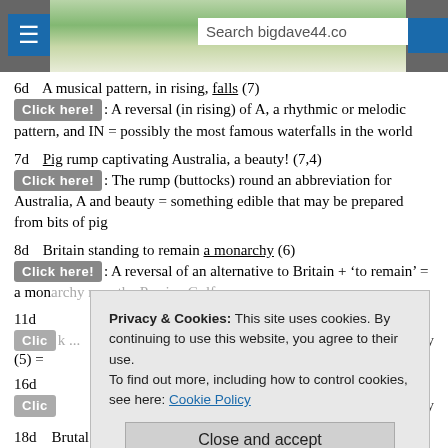bigdave44.com crossword blog — Search bigdave44.co
6d    A musical pattern, in rising, falls (7)
Click here!: A reversal (in rising) of A, a rhythmic or melodic pattern, and IN = possibly the most famous waterfalls in the world
7d    Pig rump captivating Australia, a beauty! (7,4)
Click here!: The rump (buttocks) round an abbreviation for Australia, A and beauty = something edible that may be prepared from bits of pig
8d    Britain standing to remain a monarchy (6)
Click here!: A reversal of an alternative to Britain + 'to remain' = a monarchy near the Persian Gulf
11d   [truncated by cookie overlay]   sory (5) =
16d   [truncated by cookie overlay]   y
18d   Brutal force has to work, a pest breaking and entering (7)
Privacy & Cookies: This site uses cookies. By continuing to use this website, you agree to their use. To find out more, including how to control cookies, see here: Cookie Policy
Close and accept